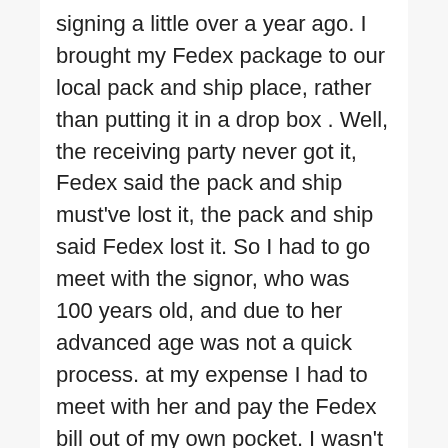signing a little over a year ago. I brought my Fedex package to our local pack and ship place, rather than putting it in a drop box . Well, the receiving party never got it, Fedex said the pack and ship must've lost it, the pack and ship said Fedex lost it. So I had to go meet with the signor, who was 100 years old, and due to her advanced age was not a quick process. at my expense I had to meet with her and pay the Fedex bill out of my own pocket. I wasn't happy.
One year and a few months later, I get an invoice from Fedex. I research the bill and find out that it was the Power of Attorney